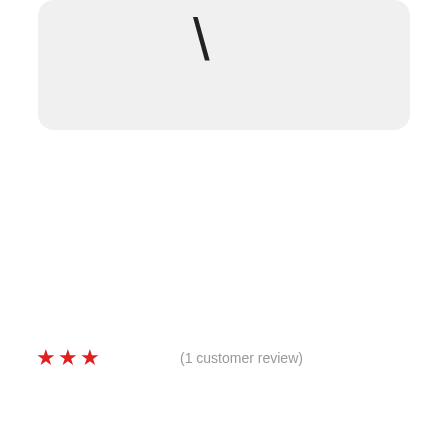[Figure (illustration): A partial view of a rounded rectangle card with light gray background, containing a single dark diagonal line or backslash character near the top center]
★★★ (1 customer review)